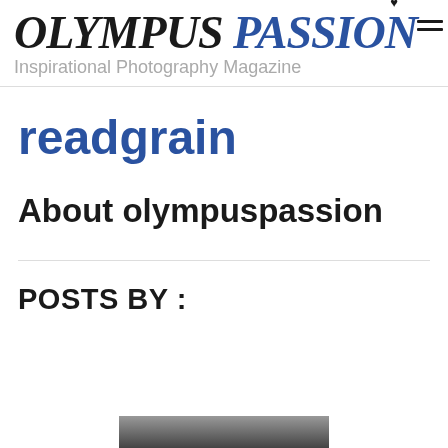OLYMPUS PASSION — Inspirational Photography Magazine
readgrain
About olympuspassion
POSTS BY :
[Figure (photo): Partial thumbnail of a photograph visible at the bottom of the page]